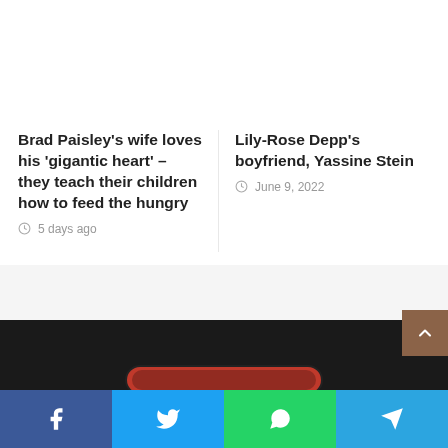Brad Paisley's wife loves his 'gigantic heart' – they teach their children how to feed the hungry
5 days ago
Lily-Rose Depp's boyfriend, Yassine Stein
June 9, 2022
[Figure (other): Dark footer section with a red/dark pill-shaped element and a brown back-to-top button]
Facebook | Twitter | WhatsApp | Telegram social share buttons